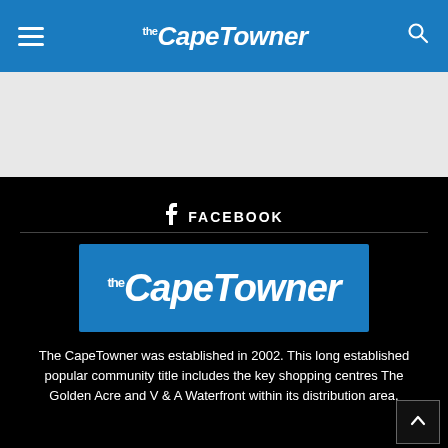The CapeTowner
[Figure (other): Light grey advertisement placeholder area]
FACEBOOK
[Figure (logo): The CapeTowner logo — blue rectangle with white italic bold text reading 'the CapeTowner']
The CapeTowner was established in 2002. This long established popular community title includes the key shopping centres The Golden Acre and V & A Waterfront within its distribution area.